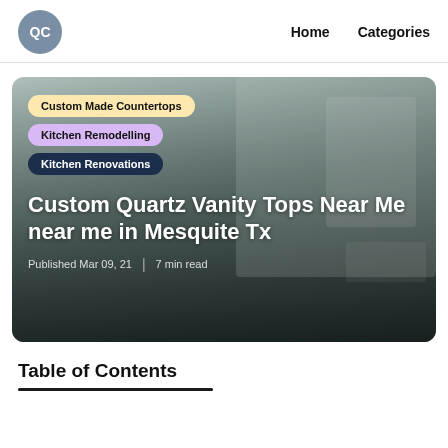QC | Home   Categories
[Figure (photo): Kitchen interior hero image with overlaid category tags and article title. Tags: Custom Made Countertops (yellow), Kitchen Remodelling (purple), Kitchen Renovations (dark navy). Title: Custom Quartz Vanity Tops Near Me near me in Mesquite Tx. Published Mar 09, 21 | 7 min read]
Table of Contents